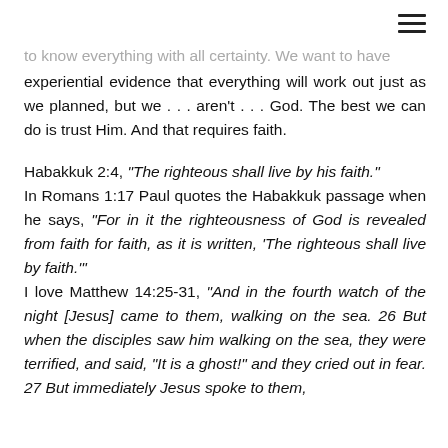≡
to know everything with all certainty. We want to have experiential evidence that everything will work out just as we planned, but we . . . aren't . . . God. The best we can do is trust Him. And that requires faith.
Habakkuk 2:4, "The righteous shall live by his faith." In Romans 1:17 Paul quotes the Habakkuk passage when he says, "For in it the righteousness of God is revealed from faith for faith, as it is written, 'The righteous shall live by faith.'" I love Matthew 14:25-31, "And in the fourth watch of the night [Jesus] came to them, walking on the sea. 26 But when the disciples saw him walking on the sea, they were terrified, and said, "It is a ghost!" and they cried out in fear. 27 But immediately Jesus spoke to them,